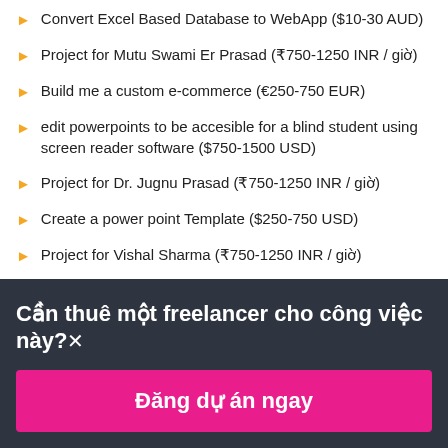Convert Excel Based Database to WebApp ($10-30 AUD)
Project for Mutu Swami Er Prasad (₹750-1250 INR / giờ)
Build me a custom e-commerce (€250-750 EUR)
edit powerpoints to be accesible for a blind student using screen reader software ($750-1500 USD)
Project for Dr. Jugnu Prasad (₹750-1250 INR / giờ)
Create a power point Template ($250-750 USD)
Project for Vishal Sharma (₹750-1250 INR / giờ)
Cần thuê một freelancer cho công việc này?×
Đăng dự án ngay